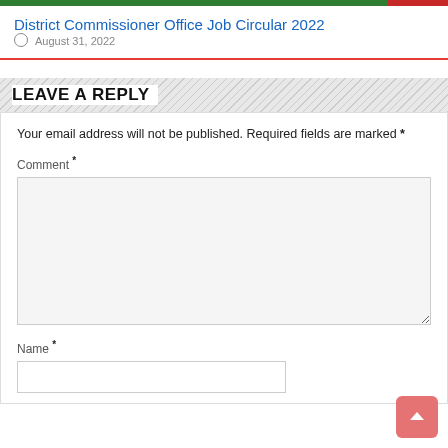District Commissioner Office Job Circular 2022
August 31, 2022
LEAVE A REPLY
Your email address will not be published. Required fields are marked *
Comment *
Name *